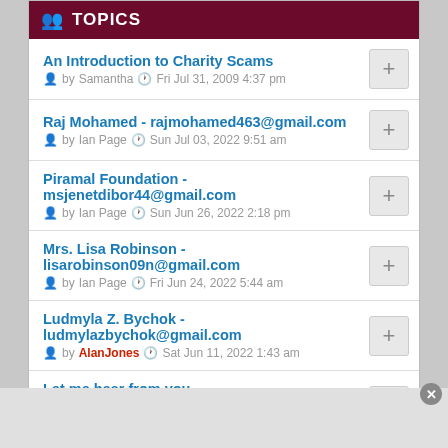TOPICS
An Introduction to Charity Scams
by Samantha  Fri Jul 31, 2009 4:37 pm
Raj Mohamed - rajmohamed463@gmail.com
by Ian Page  Sun Jul 03, 2022 9:51 am
Piramal Foundation - msjenetdibor44@gmail.com
by Ian Page  Sun Jun 26, 2022 2:18 pm
Mrs. Lisa Robinson - lisarobinson09n@gmail.com
by Ian Page  Fri Jun 24, 2022 5:44 am
Ludmyla Z. Bychok - ludmylazbychok@gmail.com
by AlanJones  Sat Jun 11, 2022 1:43 am
Let me hear from you msrebeccaj27@gmail.com
by Huntthescam  Sun May 29, 2022 11:36 am